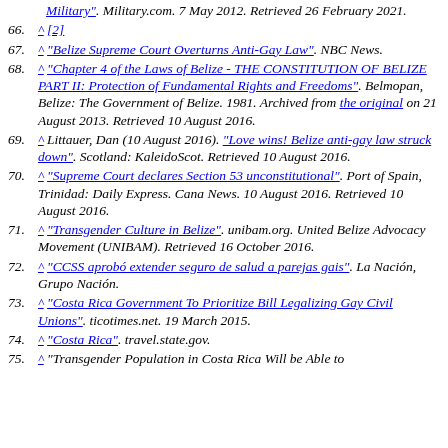(continued from above) Military". Military.com. 7 May 2012. Retrieved 26 February 2021.
66. ^ [2]
67. ^ "Belize Supreme Court Overturns Anti-Gay Law". NBC News.
68. ^ "Chapter 4 of the Laws of Belize - THE CONSTITUTION OF BELIZE PART II: Protection of Fundamental Rights and Freedoms". Belmopan, Belize: The Government of Belize. 1981. Archived from the original on 21 August 2013. Retrieved 10 August 2016.
69. ^ Littauer, Dan (10 August 2016). "Love wins! Belize anti-gay law struck down". Scotland: KaleidoScot. Retrieved 10 August 2016.
70. ^ "Supreme Court declares Section 53 unconstitutional". Port of Spain, Trinidad: Daily Express. Cana News. 10 August 2016. Retrieved 10 August 2016.
71. ^ "Transgender Culture in Belize". unibam.org. United Belize Advocacy Movement (UNIBAM). Retrieved 16 October 2016.
72. ^ "CCSS aprobó extender seguro de salud a parejas gais". La Nación, Grupo Nación.
73. ^ "Costa Rica Government To Prioritize Bill Legalizing Gay Civil Unions". ticotimes.net. 19 March 2015.
74. ^ "Costa Rica". travel.state.gov.
75. ^ "Transgender Population in Costa Rica Will be Able to